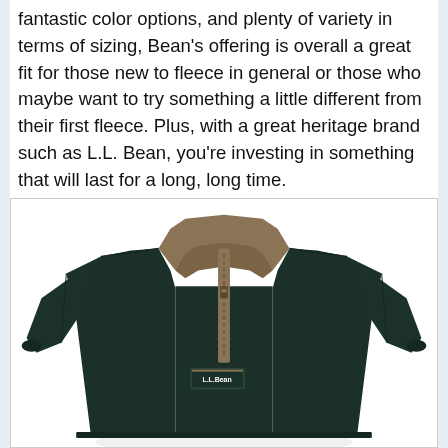fantastic color options, and plenty of variety in terms of sizing, Bean's offering is overall a great fit for those new to fleece in general or those who maybe want to try something a little different from their first fleece. Plus, with a great heritage brand such as L.L. Bean, you're investing in something that will last for a long, long time.
[Figure (photo): Photo of a dark green L.L. Bean quarter-zip fleece pullover with tan/khaki collar and zipper placket, displayed on a white background inside a bordered box.]